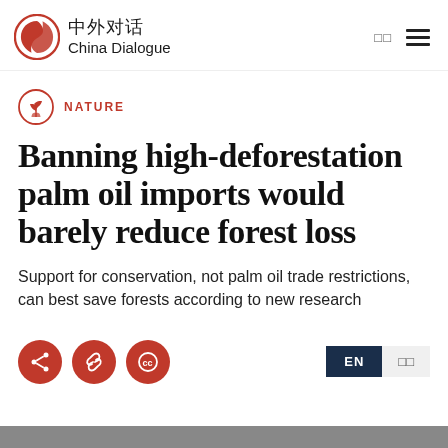中外对话 China Dialogue
NATURE
Banning high-deforestation palm oil imports would barely reduce forest loss
Support for conservation, not palm oil trade restrictions, can best save forests according to new research
[Figure (other): Bottom image strip, partially visible photograph]